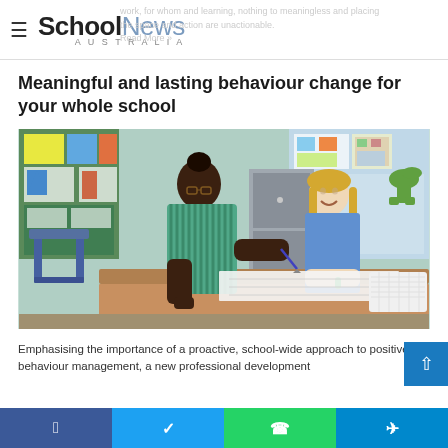School News Australia
Meaningful and lasting behaviour change for your whole school
[Figure (photo): A teacher leaning over to help a smiling young girl with schoolwork at a desk in a colourful primary school classroom.]
Emphasising the importance of a proactive, school-wide approach to positive behaviour management, a new professional development
Facebook | Twitter | WhatsApp | Telegram